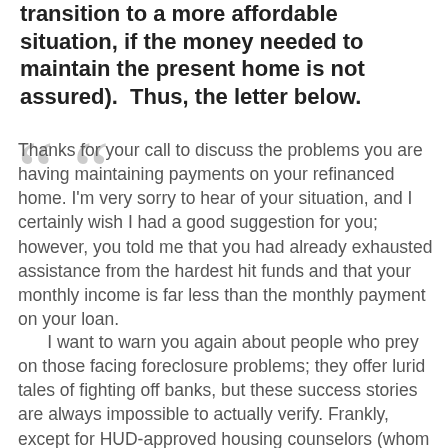transition to a more affordable situation, if the money needed to maintain the present home is not assured). Thus, the letter below.
Thanks for your call to discuss the problems you are having maintaining payments on your refinanced home. I'm very sorry to hear of your situation, and I certainly wish I had a good suggestion for you; however, you told me that you had already exhausted assistance from the hardest hit funds and that your monthly income is far less than the monthly payment on your loan.
I want to warn you again about people who prey on those facing foreclosure problems; they offer lurid tales of fighting off banks, but these success stories are always impossible to actually verify. Frankly, except for HUD-approved housing counselors (whom you have worked with at NEDCO in Springfield), my opinion is that people who offer